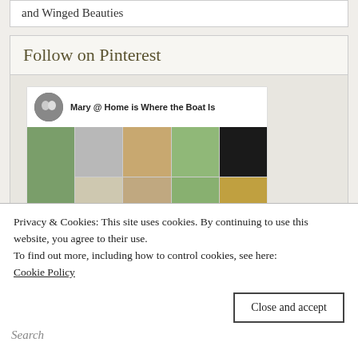and Winged Beauties
Follow on Pinterest
[Figure (screenshot): Pinterest widget showing Mary @ Home is Where the Boat Is profile with a grid of food and lifestyle photos]
Privacy & Cookies: This site uses cookies. By continuing to use this website, you agree to their use.
To find out more, including how to control cookies, see here:
Cookie Policy
Close and accept
Search